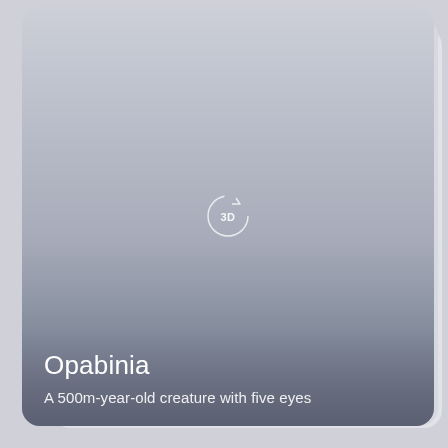[Figure (illustration): Stacked cards UI showing a 3D model viewer placeholder for Opabinia. Three overlapping rounded-rectangle cards are visible, the topmost showing a gradient grey background with a '3D' rotation icon in the center. The bottom of the card shows text overlay.]
Opabinia
A 500m-year-old creature with five eyes